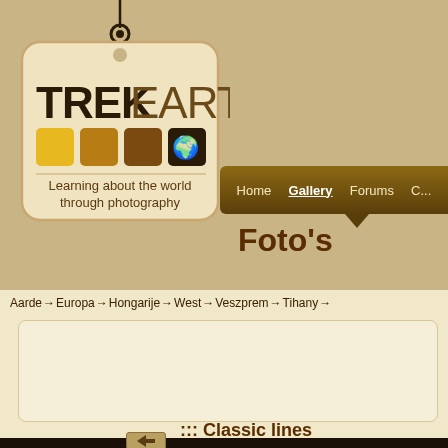[Figure (logo): TrekEarth logo - a tag-shaped label with string, showing TREK in bold dark text and EARTH in lighter text, four colored squares (yellow, gold, brown, dark brown with world map icon), and tagline 'Learning about the world through photography']
Home   Gallery   Forums   C...
Foto's
Aarde → Europa → Hongarije → West → Veszprem → Tihany →
::: Classic lines